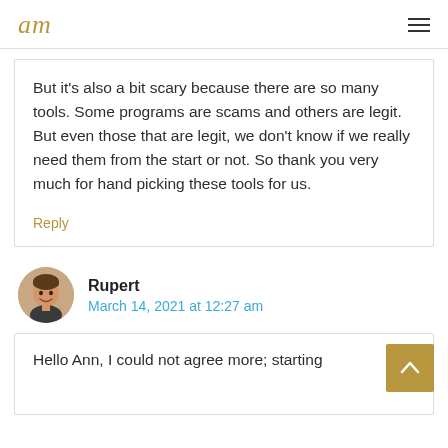am
But it’s also a bit scary because there are so many tools. Some programs are scams and others are legit. But even those that are legit, we don’t know if we really need them from the start or not. So thank you very much for hand picking these tools for us.
Reply
Rupert
March 14, 2021 at 12:27 am
Hello Ann, I could not agree more; starting